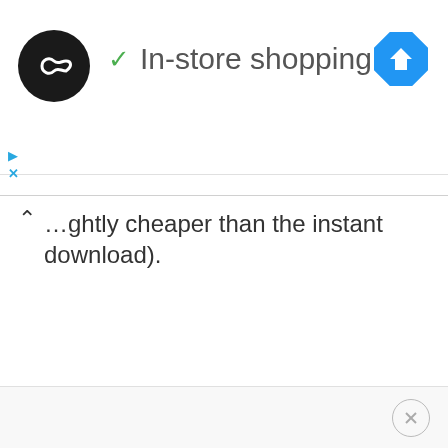[Figure (logo): Black circle logo with infinity/loop symbol in white]
✓ In-store shopping
[Figure (illustration): Blue diamond navigation/directions icon with white arrow]
[Figure (illustration): Cyan play triangle and X icons (ad controls)]
...ghtly cheaper than the instant download).
[Figure (illustration): Close/dismiss button circle with X]